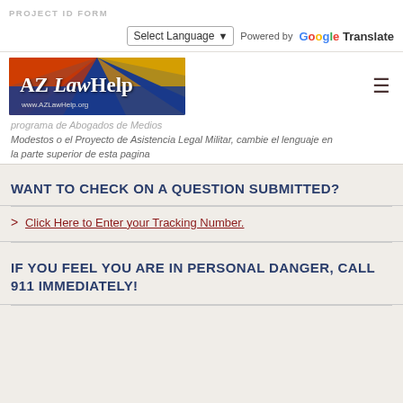PROJECT ID FORM
[Figure (screenshot): Select Language dropdown with arrow, 'Powered by' text, and Google Translate logo]
[Figure (logo): AZ LawHelp logo with Arizona flag background and www.AZLawHelp.org URL]
programa de Abogados de Medios Modestos o el Proyecto de Asistencia Legal Militar, cambie el lenguaje en la parte superior de esta pagina
WANT TO CHECK ON A QUESTION SUBMITTED?
Click Here to Enter your Tracking Number.
IF YOU FEEL YOU ARE IN PERSONAL DANGER, CALL 911 IMMEDIATELY!